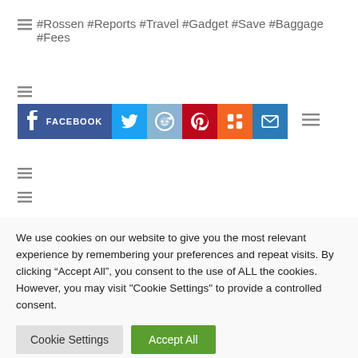#Rossen #Reports #Travel #Gadget #Save #Baggage #Fees
[Figure (other): Social share buttons: Facebook, Twitter, Reddit, Pinterest, Mix, Email, and a more options icon]
We use cookies on our website to give you the most relevant experience by remembering your preferences and repeat visits. By clicking “Accept All”, you consent to the use of ALL the cookies. However, you may visit "Cookie Settings" to provide a controlled consent.
Cookie Settings | Accept All